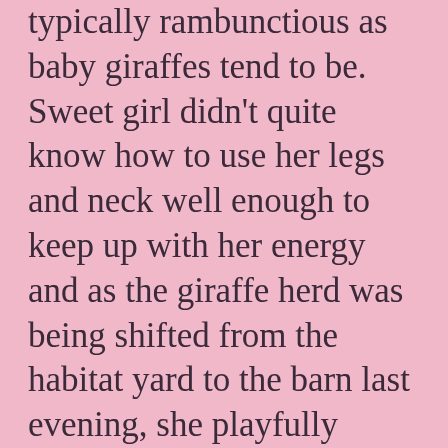typically rambunctious as baby giraffes tend to be. Sweet girl didn't quite know how to use her legs and neck well enough to keep up with her energy and as the giraffe herd was being shifted from the habitat yard to the barn last evening, she playfully made a sharp turn, hit her head and died instantly of a broken neck.

Because I am an insider, I